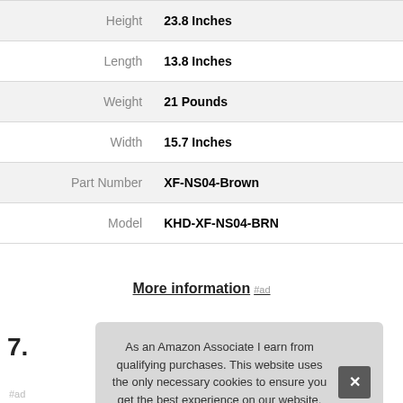| Height | 23.8 Inches |
| Length | 13.8 Inches |
| Weight | 21 Pounds |
| Width | 15.7 Inches |
| Part Number | XF-NS04-Brown |
| Model | KHD-XF-NS04-BRN |
More information #ad
7.
As an Amazon Associate I earn from qualifying purchases. This website uses the only necessary cookies to ensure you get the best experience on our website. More information
#ad